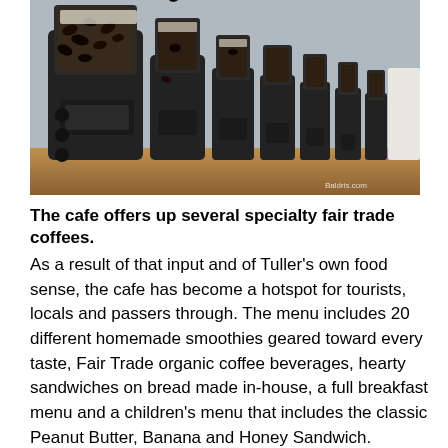[Figure (photo): A row of coffee bean dispensers/grinders lined up on a wooden counter in a cafe, filled with various types of coffee beans. The machines are black with transparent hoppers showing the beans inside. A watermark reads 'Baldris.com' in the bottom right.]
The cafe offers up several specialty fair trade coffees.
As a result of that input and of Tuller's own food sense, the cafe has become a hotspot for tourists, locals and passers through. The menu includes 20 different homemade smoothies geared toward every taste, Fair Trade organic coffee beverages, hearty sandwiches on bread made in-house, a full breakfast menu and a children's menu that includes the classic Peanut Butter, Banana and Honey Sandwich.
"We really get everybody in here," Tuller said. "We definitely get more of a family crowd, but we also get the construction guys. At